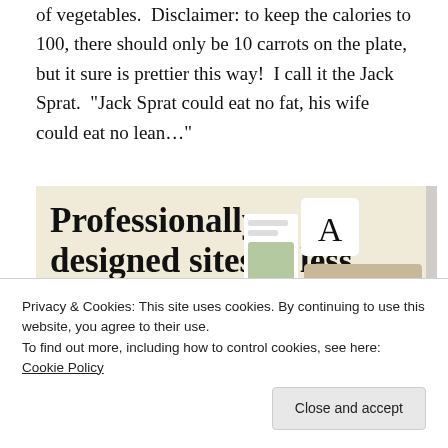of vegetables.  Disclaimer: to keep the calories to 100, there should only be 10 carrots on the plate, but it sure is prettier this way!  I call it the Jack Sprat.  "Jack Sprat could eat no fat, his wife could eat no lean..."
[Figure (screenshot): Advertisement banner with cream/beige background reading 'Professionally designed sites in less than a week' with a green 'Explore options' button and website mockup screenshots on the right]
Privacy & Cookies: This site uses cookies. By continuing to use this website, you agree to their use.
To find out more, including how to control cookies, see here: Cookie Policy